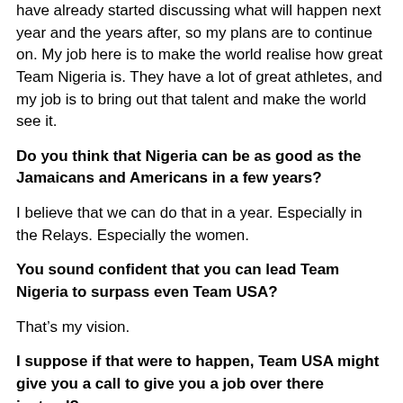have already started discussing what will happen next year and the years after, so my plans are to continue on. My job here is to make the world realise how great Team Nigeria is. They have a lot of great athletes, and my job is to bring out that talent and make the world see it.
Do you think that Nigeria can be as good as the Jamaicans and Americans in a few years?
I believe that we can do that in a year. Especially in the Relays. Especially the women.
You sound confident that you can lead Team Nigeria to surpass even Team USA?
That’s my vision.
I suppose if that were to happen, Team USA might give you a call to give you a job over there instead?